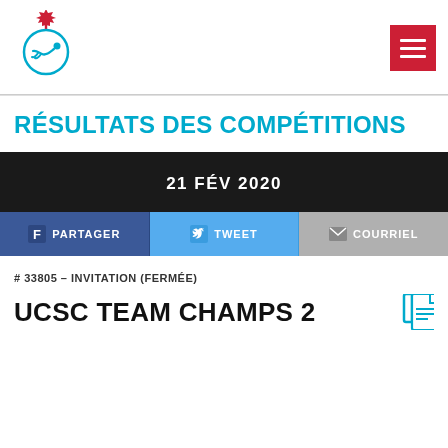[Figure (logo): Swimming Canada logo: Canadian maple leaf above a swimmer silhouette inside a teal/cyan circle]
RÉSULTATS DES COMPÉTITIONS
21 FÉV 2020
PARTAGER
TWEET
COURRIEL
# 33805 – INVITATION (FERMÉE)
UCSC TEAM CHAMPS 2